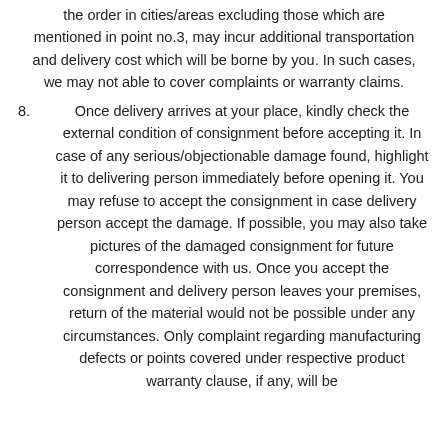the order in cities/areas excluding those which are mentioned in point no.3, may incur additional transportation and delivery cost which will be borne by you. In such cases, we may not able to cover complaints or warranty claims.
8. Once delivery arrives at your place, kindly check the external condition of consignment before accepting it. In case of any serious/objectionable damage found, highlight it to delivering person immediately before opening it. You may refuse to accept the consignment in case delivery person accept the damage. If possible, you may also take pictures of the damaged consignment for future correspondence with us. Once you accept the consignment and delivery person leaves your premises, return of the material would not be possible under any circumstances. Only complaint regarding manufacturing defects or points covered under respective product warranty clause, if any, will be